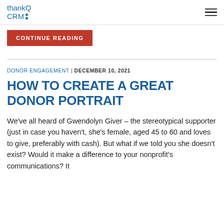thankQ CRM
CONTINUE READING
DONOR ENGAGEMENT | DECEMBER 10, 2021
HOW TO CREATE A GREAT DONOR PORTRAIT
We've all heard of Gwendolyn Giver – the stereotypical supporter (just in case you haven't, she's female, aged 45 to 60 and loves to give, preferably with cash). But what if we told you she doesn't exist? Would it make a difference to your nonprofit's communications? It should. It...